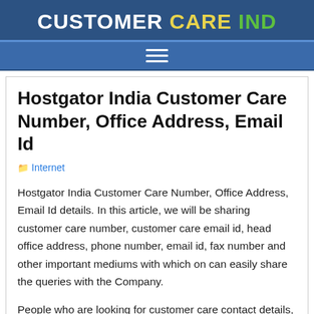CUSTOMER CARE IND
Hostgator India Customer Care Number, Office Address, Email Id
Internet
Hostgator India Customer Care Number, Office Address, Email Id details. In this article, we will be sharing customer care number, customer care email id, head office address, phone number, email id, fax number and other important mediums with which on can easily share the queries with the Company.
People who are looking for customer care contact details, head office details of Hostgator India can find the details below. Also, know about the company active social profiles and visit the important link section to know about the